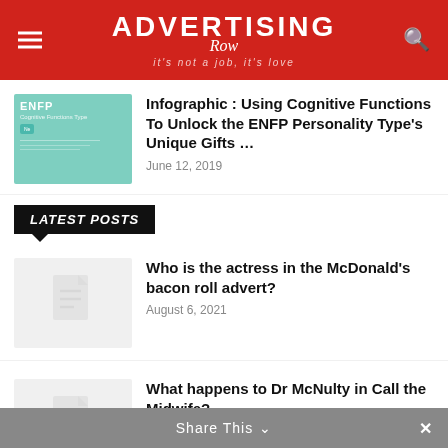ADVERTISING Row — it's not a job, it's love
[Figure (photo): ENFP infographic thumbnail with teal background]
Infographic : Using Cognitive Functions To Unlock the ENFP Personality Type's Unique Gifts …
June 12, 2019
LATEST POSTS
[Figure (photo): Placeholder article thumbnail with document icon]
Who is the actress in the McDonald's bacon roll advert?
August 6, 2021
[Figure (photo): Placeholder article thumbnail with document icon]
What happens to Dr McNulty in Call the Midwife?
December 18, 2021
Share This ∨  ✕